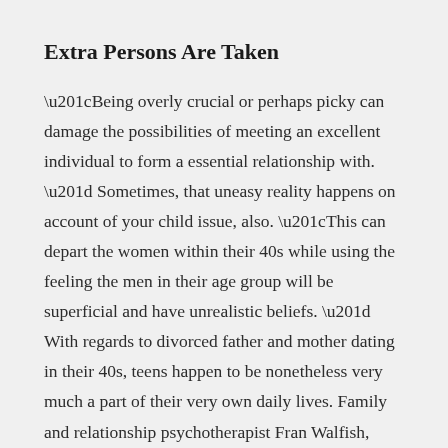Extra Persons Are Taken
“Being overly crucial or perhaps picky can damage the possibilities of meeting an excellent individual to form a essential relationship with. ” Sometimes, that uneasy reality happens on account of your child issue, also. “This can depart the women within their 40s while using the feeling the men in their age group will be superficial and have unrealistic beliefs. ” With regards to divorced father and mother dating in their 40s, teens happen to be nonetheless very much a part of their very own daily lives. Family and relationship psychotherapist Fran Walfish, PsyD, notes that “relationship